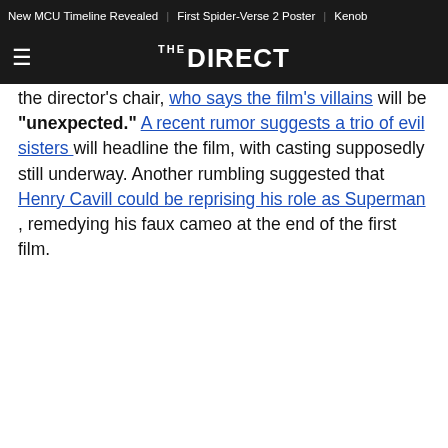New MCU Timeline Revealed | First Spider-Verse 2 Poster | Kenob...
THE DIRECT
the director's chair, who says the film's villains will be "unexpected." A recent rumor suggests a trio of evil sisters will headline the film, with casting supposedly still underway. Another rumbling suggested that Henry Cavill could be reprising his role as Superman , remedying his faux cameo at the end of the first film.